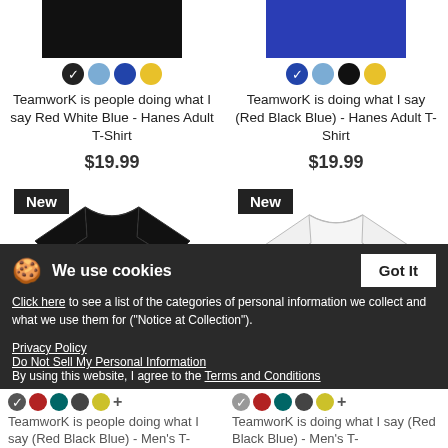[Figure (photo): Black t-shirt product image (top, cropped), with color swatches below]
TeamworK is people doing what I say Red White Blue - Hanes Adult T-Shirt
$19.99
[Figure (photo): Blue t-shirt product image (top, cropped), with color swatches below]
TeamworK is doing what I say (Red Black Blue) - Hanes Adult T-Shirt
$19.99
[Figure (photo): Black t-shirt with Teamwork logo, labeled 'New']
[Figure (photo): White t-shirt with Teamwork logo, labeled 'New']
We use cookies
Click here to see a list of the categories of personal information we collect and what we use them for ("Notice at Collection").
Privacy Policy
Do Not Sell My Personal Information
By using this website, I agree to the Terms and Conditions
TeamworK is people doing what I say (Red Black Blue) - Men's T-
TeamworK is doing what I say (Red Black Blue) - Men's T-